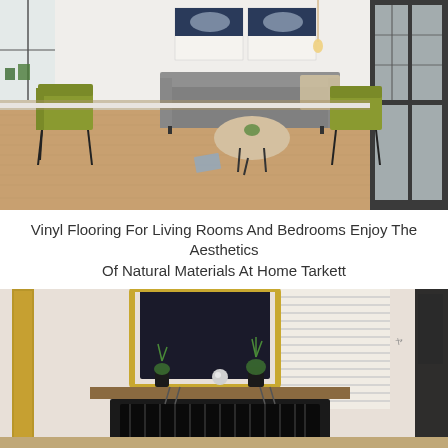[Figure (photo): Modern living room interior with wood vinyl flooring, grey sofa, yellow-green accent chairs, round coffee table, abstract wall art, and large black-framed windows]
Vinyl Flooring For Living Rooms And Bedrooms Enjoy The Aesthetics Of Natural Materials At Home Tarkett
[Figure (photo): Interior room with fireplace, dark mirror frame, potted plants, venetian blinds, and wood vinyl flooring]